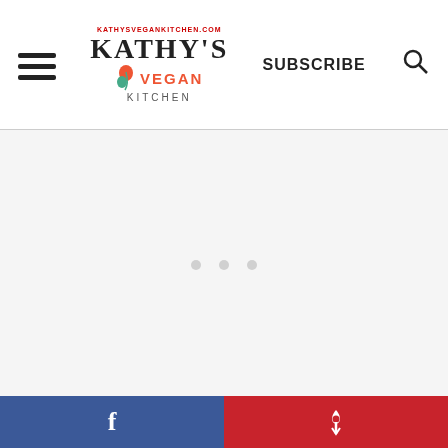Kathy's Vegan Kitchen — SUBSCRIBE
[Figure (other): Advertisement placeholder area with three dots indicating loading ad content]
The magic or any sandwich or salad is always the sauce. For this particular
Facebook share | Pinterest share